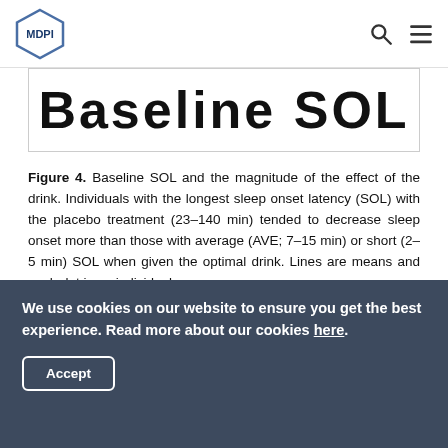MDPI
[Figure (other): Partial view of Figure 4 showing 'Baseline SOL' chart title cropped at top]
Figure 4. Baseline SOL and the magnitude of the effect of the drink. Individuals with the longest sleep onset latency (SOL) with the placebo treatment (23–140 min) tended to decrease sleep onset more than those with average (AVE; 7–15 min) or short (2–5 min) SOL when given the optimal drink. Lines are means and each dot is an individual.
Table 1. Objective and subjective sleep variables and test battery results for least optimal, placebo, and optimal nutritional combinations (mean ± standard deviation (sd)).
We use cookies on our website to ensure you get the best experience. Read more about our cookies here.